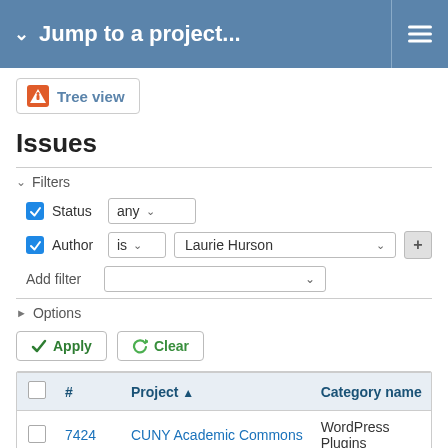Jump to a project...
[Figure (screenshot): Tree view button with orange alert icon]
Issues
Filters
Status: any
Author: is | Laurie Hurson
Add filter
Options
Apply | Clear
| # | Project | Category name |
| --- | --- | --- |
| 7424 | CUNY Academic Commons | WordPress Plugins |